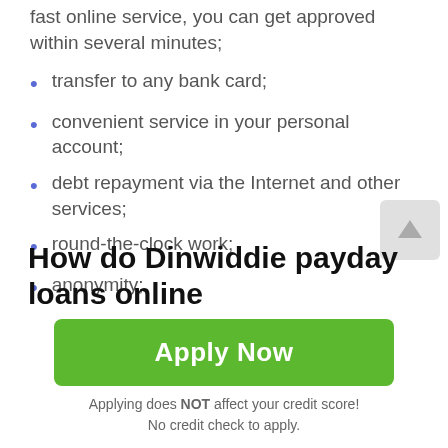fast online service, you can get approved within several minutes;
transfer to any bank card;
convenient service in your personal account;
debt repayment via the Internet and other services;
round-the-clock work;
anonymity;
protection of the client's payment data.
How do Dinwiddie payday loans online function?
Apply Now
Applying does NOT affect your credit score! No credit check to apply.